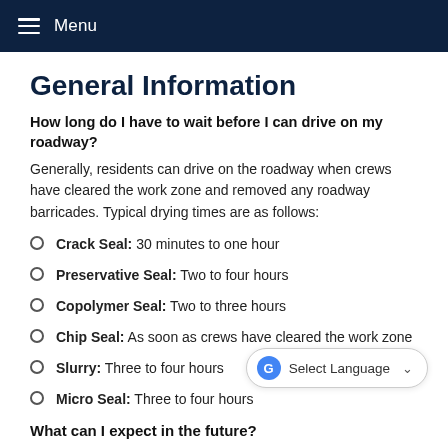Menu
General Information
How long do I have to wait before I can drive on my roadway?
Generally, residents can drive on the roadway when crews have cleared the work zone and removed any roadway barricades. Typical drying times are as follows:
Crack Seal: 30 minutes to one hour
Preservative Seal: Two to four hours
Copolymer Seal: Two to three hours
Chip Seal: As soon as crews have cleared the work zone
Slurry: Three to four hours
Micro Seal: Three to four hours
What can I expect in the future?